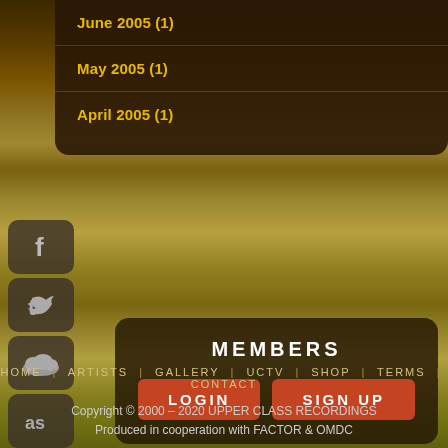June 2005 (1)
May 2005 (1)
April 2005 (1)
[Figure (screenshot): Social media icon buttons on left sidebar: Facebook, Twitter, SoundCloud, Last.fm, YouTube, Vimeo]
MEMBERS
LOGIN   SIGN UP
HOME | ARTISTS | GALLERY | UCTV | SHOP | TERMS | CONTACT
Copyright © 2000 – 2020 UPPER CLASS RECORDINGS
Produced in cooperation with FACTOR & OMDC